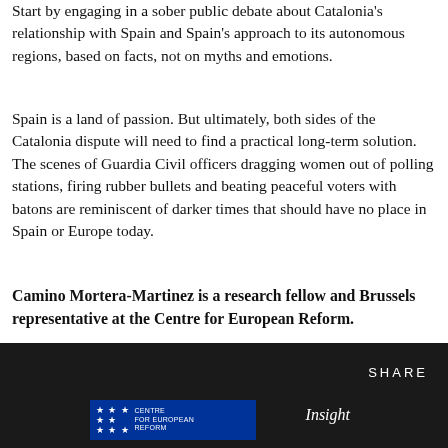Start by engaging in a sober public debate about Catalonia's relationship with Spain and Spain's approach to its autonomous regions, based on facts, not on myths and emotions.
Spain is a land of passion. But ultimately, both sides of the Catalonia dispute will need to find a practical long-term solution. The scenes of Guardia Civil officers dragging women out of polling stations, firing rubber bullets and beating peaceful voters with batons are reminiscent of darker times that should have no place in Spain or Europe today.
Camino Mortera-Martinez is a research fellow and Brussels representative at the Centre for European Reform.
[Figure (other): Dark footer bar with SHARE text and Centre for European Reform logo alongside Insight text]